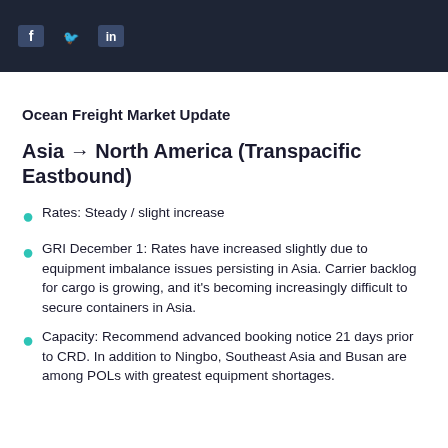[Social media icon bar with Facebook, Twitter, LinkedIn icons]
Ocean Freight Market Update
Asia → North America (Transpacific Eastbound)
Rates: Steady / slight increase
GRI December 1: Rates have increased slightly due to equipment imbalance issues persisting in Asia. Carrier backlog for cargo is growing, and it's becoming increasingly difficult to secure containers in Asia.
Capacity: Recommend advanced booking notice 21 days prior to CRD. In addition to Ningbo, Southeast Asia and Busan are among POLs with greatest equipment shortages.